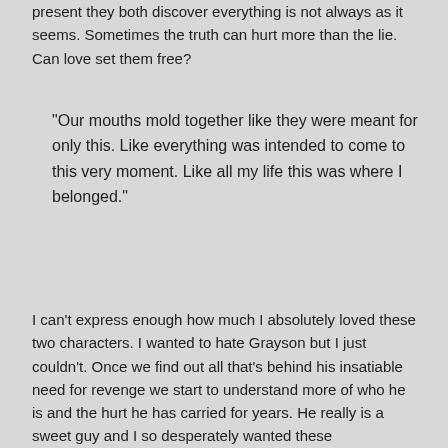present they both discover everything is not always as it seems. Sometimes the truth can hurt more than the lie. Can love set them free?
“Our mouths mold together like they were meant for only this. Like everything was intended to come to this very moment. Like all my life this was where I belonged.”
I can’t express enough how much I absolutely loved these two characters. I wanted to hate Grayson but I just couldn’t. Once we find out all that’s behind his insatiable need for revenge we start to understand more of who he is and the hurt he has carried for years. He really is a sweet guy and I so desperately wanted these